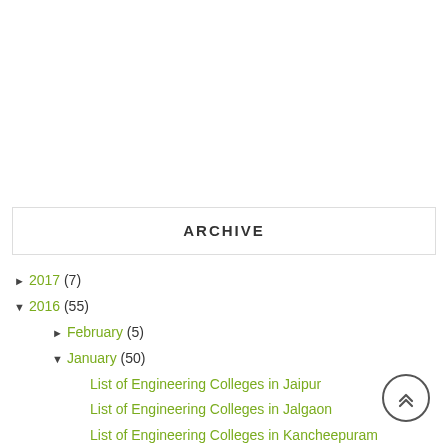ARCHIVE
► 2017 (7)
▼ 2016 (55)
► February (5)
▼ January (50)
List of Engineering Colleges in Jaipur
List of Engineering Colleges in Jalgaon
List of Engineering Colleges in Kancheepuram
List of Engineering Colleges in Khammam
List of Engineering Colleges in Kolhapur